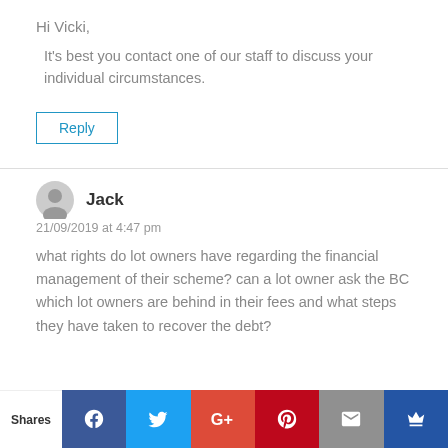Hi Vicki,
It’s best you contact one of our staff to discuss your individual circumstances.
Reply
Jack
21/09/2019 at 4:47 pm
what rights do lot owners have regarding the financial management of their scheme? can a lot owner ask the BC which lot owners are behind in their fees and what steps they have taken to recover the debt?
[Figure (other): Social share bar with Facebook, Twitter, Google+, Pinterest, Email, and Crown icons]